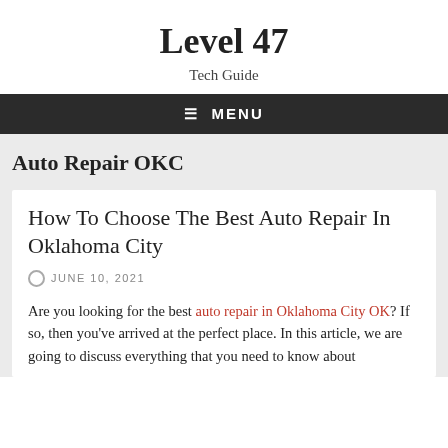Level 47
Tech Guide
≡ MENU
Auto Repair OKC
How To Choose The Best Auto Repair In Oklahoma City
JUNE 10, 2021
Are you looking for the best auto repair in Oklahoma City OK? If so, then you've arrived at the perfect place. In this article, we are going to discuss everything that you need to know about